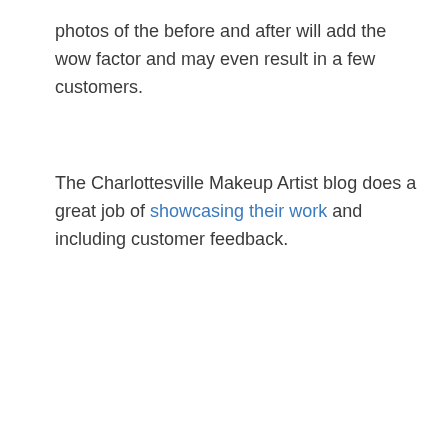photos of the before and after will add the wow factor and may even result in a few customers.
The Charlottesville Makeup Artist blog does a great job of showcasing their work and including customer feedback.